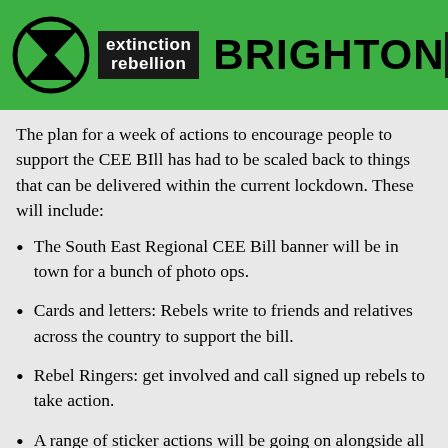[Figure (logo): Extinction Rebellion Brighton logo with hourglass-circle symbol, 'extinction rebellion' text on black background, 'BRIGHTON' in large bold text, and hamburger menu icon, all on green header bar]
The plan for a week of actions to encourage people to support the CEE BIll has had to be scaled back to things that can be delivered within the current lockdown. These will include:
The South East Regional CEE Bill banner will be in town for a bunch of photo ops.
Cards and letters: Rebels write to friends and relatives across the country to support the bill.
Rebel Ringers: get involved and call signed up rebels to take action.
A range of sticker actions will be going on alongside all this.